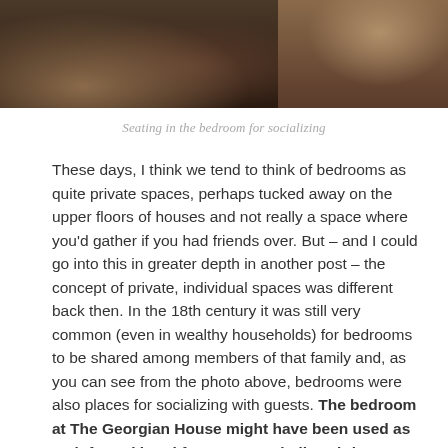[Figure (photo): Photograph showing seating in a bedroom — a patterned floor with hexagonal tiles/rug visible on the left side and ornate furniture on the right side.]
Seating in the bedroom for socializing
These days, I think we tend to think of bedrooms as quite private spaces, perhaps tucked away on the upper floors of houses and not really a space where you'd gather if you had friends over. But – and I could go into this in greater depth in another post – the concept of private, individual spaces was different back then. In the 18th century it was still very common (even in wealthy households) for bedrooms to be shared among members of that family and, as you can see from the photo above, bedrooms were also places for socializing with guests. The bedroom at The Georgian House might have been used as an informal breakfast room, or ladies sitting room – which would have allowed the hosts the show off their four-poster bed... which was a bit of an 18th century status